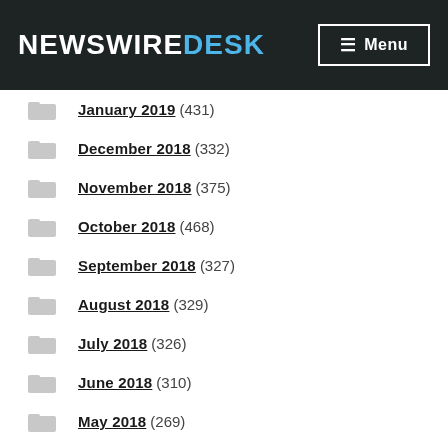NewswireDesk — Menu
January 2019 (431)
December 2018 (332)
November 2018 (375)
October 2018 (468)
September 2018 (327)
August 2018 (329)
July 2018 (326)
June 2018 (310)
May 2018 (269)
April 2018 (275)
March 2018 (214)